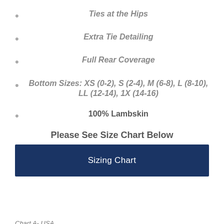Ties at the Hips
Extra Tie Detailing
Full Rear Coverage
Bottom Sizes: XS (0-2), S (2-4), M (6-8), L (8-10), LL (12-14), 1X (14-16)
100% Lambskin
Please See Size Chart Below
Sizing Chart
Chart A- USA